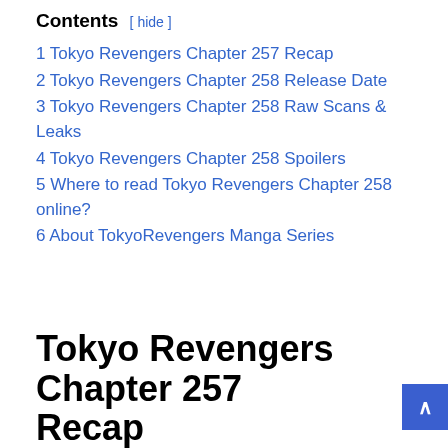Contents [ hide ]
1 Tokyo Revengers Chapter 257 Recap
2 Tokyo Revengers Chapter 258 Release Date
3 Tokyo Revengers Chapter 258 Raw Scans & Leaks
4 Tokyo Revengers Chapter 258 Spoilers
5 Where to read Tokyo Revengers Chapter 258 online?
6 About Tokyo​Revengers Manga Series
Tokyo Revengers Chapter 257 Recap